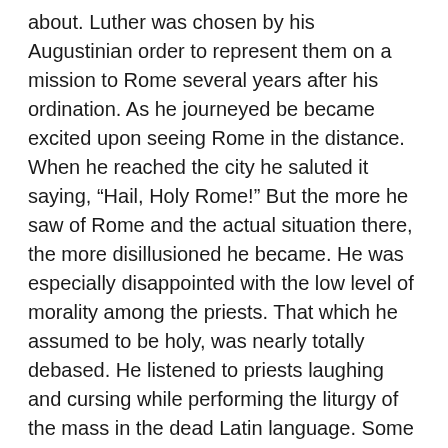about. Luther was chosen by his Augustinian order to represent them on a mission to Rome several years after his ordination. As he journeyed be became excited upon seeing Rome in the distance. When he reached the city he saluted it saying, “Hail, Holy Rome!” But the more he saw of Rome and the actual situation there, the more disillusioned he became. He was especially disappointed with the low level of morality among the priests. That which he assumed to be holy, was nearly totally debased. He listened to priests laughing and cursing while performing the liturgy of the mass in the dead Latin language. Some of the priests chided Luther for his conscientious ways.
But Luther was determined to get whatever blessings he could in Rome, both for himself and for his loved ones far and in the past.